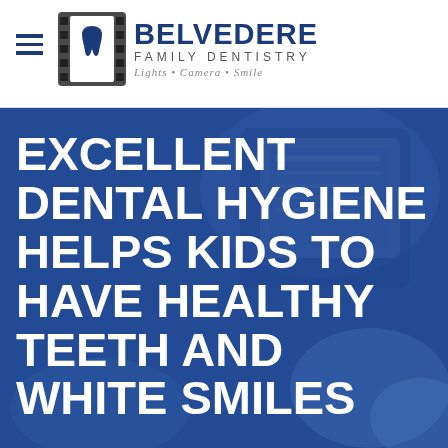Belvedere Family Dentistry – Lights • Camera • Smile
[Figure (logo): Belvedere Family Dentistry logo with film strip icon containing a tooth, blue bold text reading BELVEDERE, subtitle FAMILY DENTISTRY, tagline Lights • Camera • Smile]
EXCELLENT DENTAL HYGIENE HELPS KIDS TO HAVE HEALTHY TEETH AND WHITE SMILES